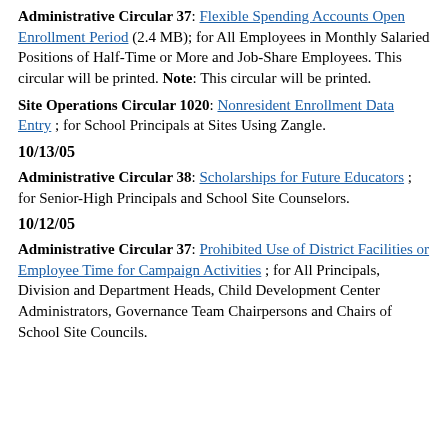Administrative Circular 37: Flexible Spending Accounts Open Enrollment Period (2.4 MB); for All Employees in Monthly Salaried Positions of Half-Time or More and Job-Share Employees. This circular will be printed. Note: This circular will be printed.
Site Operations Circular 1020: Nonresident Enrollment Data Entry; for School Principals at Sites Using Zangle.
10/13/05
Administrative Circular 38: Scholarships for Future Educators; for Senior-High Principals and School Site Counselors.
10/12/05
Administrative Circular 37: Prohibited Use of District Facilities or Employee Time for Campaign Activities; for All Principals, Division and Department Heads, Child Development Center Administrators, Governance Team Chairpersons and Chairs of School Site Councils.